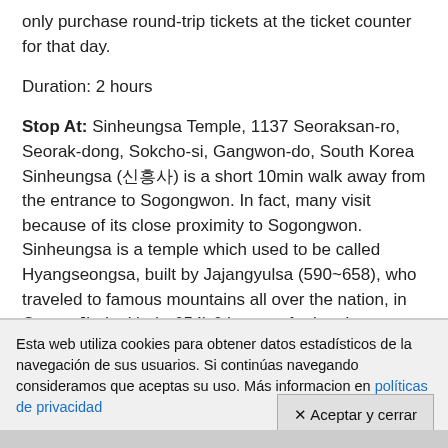only purchase round-trip tickets at the ticket counter for that day.
Duration: 2 hours
Stop At: Sinheungsa Temple, 1137 Seoraksan-ro, Seorak-dong, Sokcho-si, Gangwon-do, South Korea
Sinheungsa (신흥사) is a short 10min walk away from the entrance to Sogongwon. In fact, many visit because of its close proximity to Sogongwon. Sinheungsa is a temple which used to be called Hyangseongsa, built by Jajangyulsa (590~658), who traveled to famous mountains all over the nation, in Queen Jindeok's (-~654) 6th year of reign. It was destroyed and rebuilt many times since.
Esta web utiliza cookies para obtener datos estadísticos de la navegación de sus usuarios. Si continúas navegando consideramos que aceptas su uso. Más informacion en políticas de privacidad